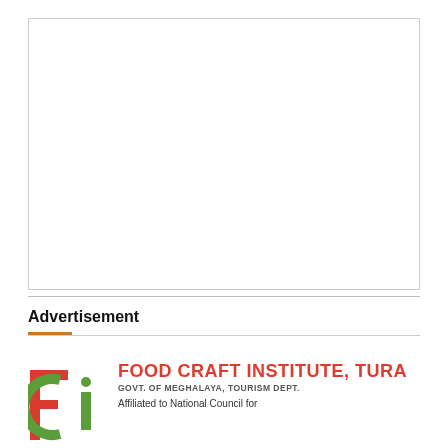[Figure (other): Empty white box with border, placeholder area]
Advertisement
[Figure (logo): Food Craft Institute, Tura logo with FCI monogram in red and green, text: FOOD CRAFT INSTITUTE, TURA, GOVT. OF MEGHALAYA, TOURISM DEPT., Affiliated to National Council for]